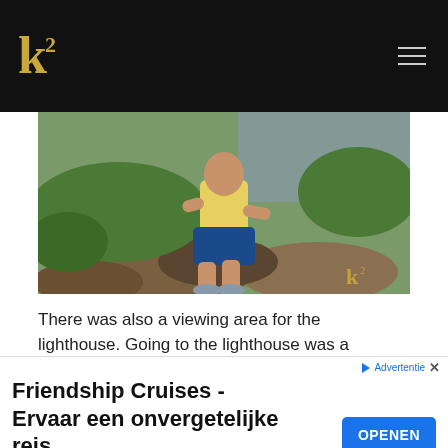k² (logo header bar)
[Figure (photo): Woman in yellow tank top and blue shorts sitting on rocks surrounded by green vegetation and a body of water in the background, with a k² watermark in the lower right corner.]
There was also a viewing area for the lighthouse. Going to the lighthouse was a separate trek which we skipped.
[Figure (screenshot): Advertisement banner: Friendship Cruises - Ervaar een onvergetelijke reis. Bevaar de mooiste rivieren van de Wereld. Welkom aan boord bij Friendship Cruises! destintravel.nl. With an OPENEN button.]